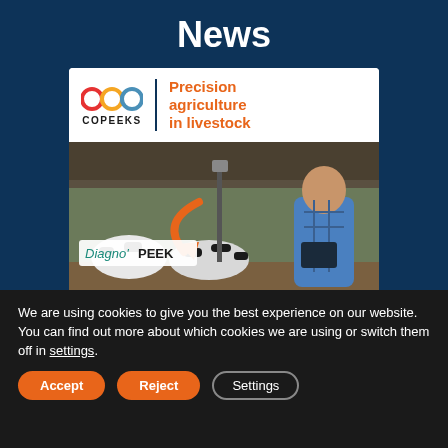News
[Figure (infographic): COPEEKS brand card with logo (three interlocked rings in red, orange, green, blue) and text 'Precision agriculture in livestock', below which is a farm scene showing dairy cows in a barn with a person in a blue plaid shirt and a sensor device labeled 'Diagno' PEEK' with an orange arrow pointing down.]
We are using cookies to give you the best experience on our website.
You can find out more about which cookies we are using or switch them off in settings.
Accept
Reject
Settings